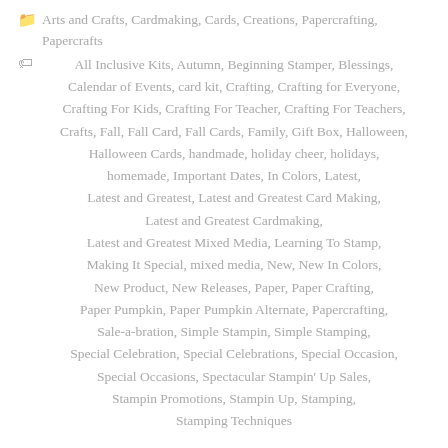Arts and Crafts, Cardmaking, Cards, Creations, Papercrafting, Papercrafts
All Inclusive Kits, Autumn, Beginning Stamper, Blessings, Calendar of Events, card kit, Crafting, Crafting for Everyone, Crafting For Kids, Crafting For Teacher, Crafting For Teachers, Crafts, Fall, Fall Card, Fall Cards, Family, Gift Box, Halloween, Halloween Cards, handmade, holiday cheer, holidays, homemade, Important Dates, In Colors, Latest, Latest and Greatest, Latest and Greatest Card Making, Latest and Greatest Cardmaking, Latest and Greatest Mixed Media, Learning To Stamp, Making It Special, mixed media, New, New In Colors, New Product, New Releases, Paper, Paper Crafting, Paper Pumpkin, Paper Pumpkin Alternate, Papercrafting, Sale-a-bration, Simple Stampin, Simple Stamping, Special Celebration, Special Celebrations, Special Occasion, Special Occasions, Spectacular Stampin' Up Sales, Stampin Promotions, Stampin Up, Stamping, Stamping Techniques